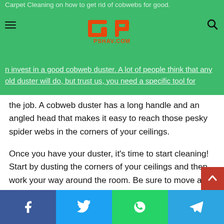PSHAV.COM — Carpet Cleaning on how to get rid of cobwebs for good.
the job. A cobweb duster has a long handle and an angled head that makes it easy to reach those pesky spider webs in the corners of your ceilings.
Once you have your duster, it's time to start cleaning! Start by dusting the corners of your ceilings and then work your way around the room. Be sure to move any furniture so that you can get to all the nooks and crannies. And don't forget to dust your light fixtures!
If you find that you're still seeing cobwebs after you've dusted, it might be time to call in the professionals. Bailey's Carpet
Facebook | Twitter | WhatsApp | Telegram